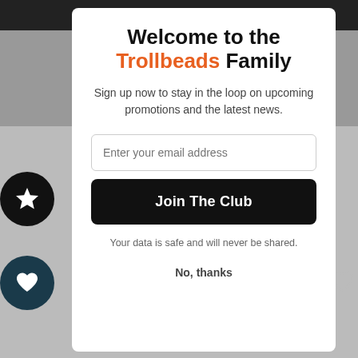Welcome to the Trollbeads Family
Sign up now to stay in the loop on upcoming promotions and the latest news.
Enter your email address
Join The Club
Your data is safe and will never be shared.
No, thanks